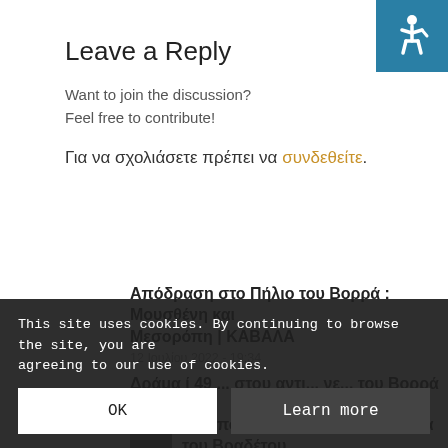Leave a Reply
Want to join the discussion?
Feel free to contribute!
Για να σχολιάσετε πρέπει να συνδεθείτε.
Απόδραση στο Πήλιο του Βορρά : Μουσθένη και Μεσορόπη | ΚΑΒΑΛΑ
12 Ιουλίου 2022 - 19:34
Δράμα ί 49 ... στου αντι... νε... του Βορρά
12 Μαΐου ...
Πεζοπορία στη χιονισμένη Σκάλα του Βραδέτου,
This site uses cookies. By continuing to browse the site, you are agreeing to our use of cookies.